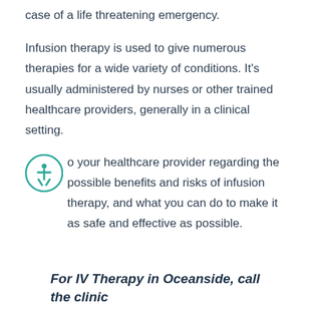case of a life threatening emergency.
Infusion therapy is used to give numerous therapies for a wide variety of conditions. It's usually administered by nurses or other trained healthcare providers, generally in a clinical setting.
o your healthcare provider regarding the possible benefits and risks of infusion therapy, and what you can do to make it as safe and effective as possible.
For IV Therapy in Oceanside, call the clinic